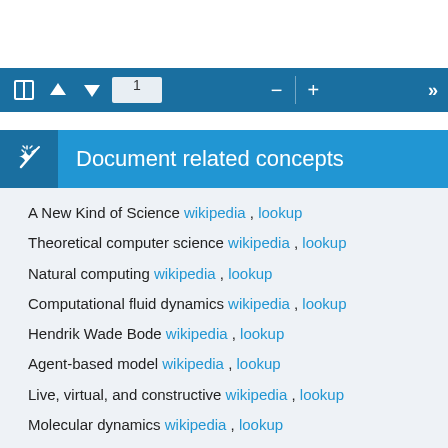[Figure (screenshot): Toolbar with navigation icons, page number input field showing '1', minus and plus controls, and double-chevron right]
Document related concepts
A New Kind of Science wikipedia , lookup
Theoretical computer science wikipedia , lookup
Natural computing wikipedia , lookup
Computational fluid dynamics wikipedia , lookup
Hendrik Wade Bode wikipedia , lookup
Agent-based model wikipedia , lookup
Live, virtual, and constructive wikipedia , lookup
Molecular dynamics wikipedia , lookup
Multi-state modeling of biomolecules wikipedia , lookup
Military simulation wikipedia , lookup
Joint Theater Level Simulation wikipedia , lookup
Computer simulation wikipedia , lookup